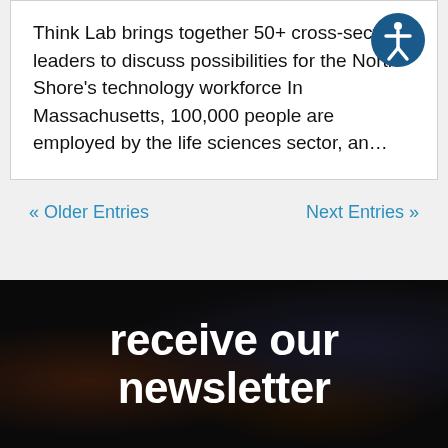Think Lab brings together 50+ cross-sector leaders to discuss possibilities for the North Shore's technology workforce In Massachusetts, 100,000 people are employed by the life sciences sector, an...
« Older Entries    Next Entries »
receive our newsletter